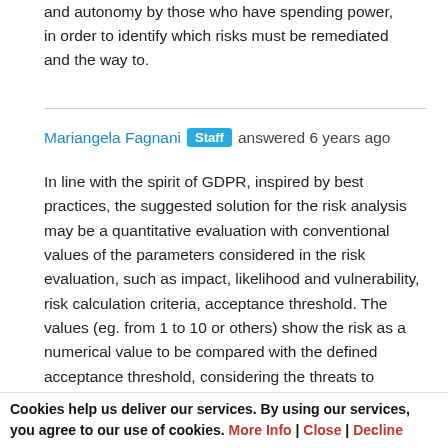and autonomy by those who have spending power, in order to identify which risks must be remediated and the way to.
Mariangela Fagnani Staff answered 6 years ago
In line with the spirit of GDPR, inspired by best practices, the suggested solution for the risk analysis may be a quantitative evaluation with conventional values of the parameters considered in the risk evaluation, such as impact, likelihood and vulnerability, risk calculation criteria, acceptance threshold. The values (eg. from 1 to 10 or others) show the risk as a numerical value to be compared with the defined acceptance threshold, considering the threats to personal data treatments. In summary, the Privacy Impact Assessment (PIA) should be
Cookies help us deliver our services. By using our services, you agree to our use of cookies. More Info | Close | Decline